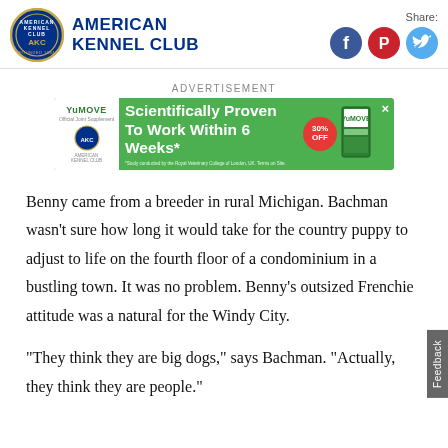[Figure (logo): American Kennel Club logo with AKC seal and blue text reading AMERICAN KENNEL CLUB]
[Figure (infographic): Social media share icons: Facebook (blue circle), Pinterest (red circle), Twitter (light blue circle), with Share: label above]
ADVERTISEMENT
[Figure (screenshot): YuMove advertisement banner: green background with white bold text 'Scientifically Proven To Work Within 6 Weeks*', YuMove brand on left white panel, 30% OFF red badge, product image on right, fine print about Royal Veterinary College study]
Benny came from a breeder in rural Michigan. Bachman wasn't sure how long it would take for the country puppy to adjust to life on the fourth floor of a condominium in a bustling town. It was no problem. Benny’s outsized Frenchie attitude was a natural for the Windy City.
“They think they are big dogs,” says Bachman. “Actually, they think they are people.”